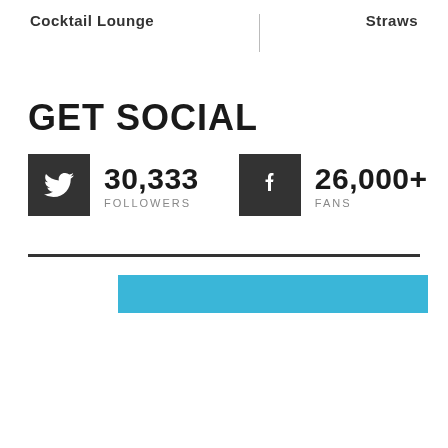Cocktail Lounge    Straws
GET SOCIAL
[Figure (infographic): Twitter icon box (dark grey square with white bird icon) showing 30,333 FOLLOWERS, and Facebook icon box (dark grey square with white f icon) showing 26,000+ FANS]
[Figure (infographic): Dark horizontal divider line followed by a cyan/blue horizontal bar]